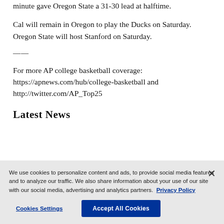minute gave Oregon State a 31-30 lead at halftime.
Cal will remain in Oregon to play the Ducks on Saturday. Oregon State will host Stanford on Saturday.
——
For more AP college basketball coverage: https://apnews.com/hub/college-basketball and http://twitter.com/AP_Top25
Latest News
We use cookies to personalize content and ads, to provide social media features and to analyze our traffic. We also share information about your use of our site with our social media, advertising and analytics partners. Privacy Policy